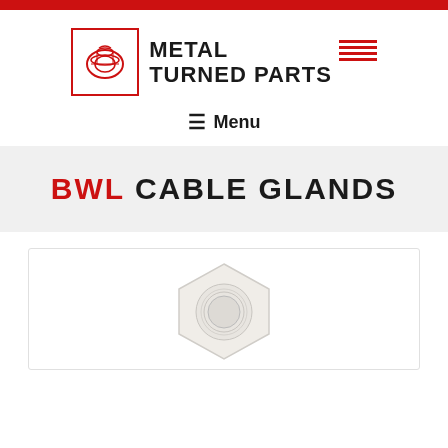[Figure (logo): Metal Turned Parts logo: red-bordered square with a machined part icon, bold text METAL TURNED PARTS with red horizontal lines accent]
≡  Menu
BWL CABLE GLANDS
[Figure (photo): White plastic or nylon cable gland product photo on white background, partially cropped at bottom]